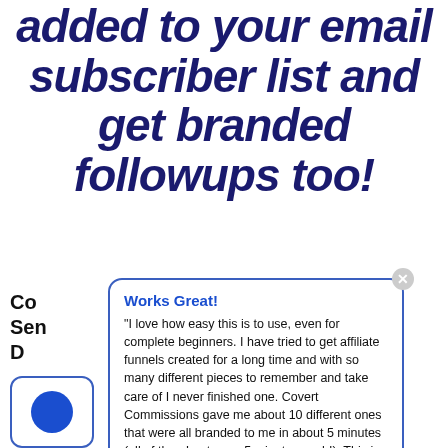added to your email subscriber list and get branded followups too!
Co... ...etResponse, Sen... ...ponders... And D... ...s Complete
[Figure (other): A popup/modal dialog overlay with a blue border and close button. Header reads 'Works Great!' in bold blue. Body contains a testimonial quote: 'I love how easy this is to use, even for complete beginners. I have tried to get affiliate funnels created for a long time and with so many different pieces to remember and take care of I never finished one. Covert Commissions gave me about 10 different ones that were all branded to me in about 5 minutes (all of them! not even 5 minutes each!). This is exactly what i've been looking for.']
Once ...ugh our tested and prov... ...tion and download